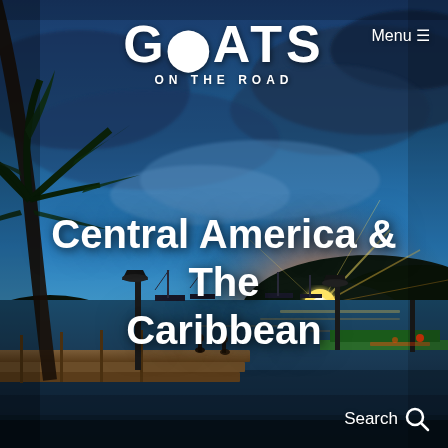[Figure (photo): Tropical sunset scene at a waterfront dock/marina with sailboats, calm water, silhouetted hills, palm tree fronds at upper left, dramatic sky with clouds, golden sun setting behind hills. Two people sitting on the dock. Vibrant blue and orange tones.]
GOATS ON THE ROAD
Menu ≡
Central America & The Caribbean
Search 🔍